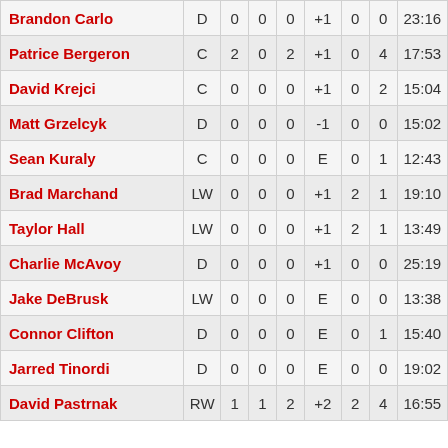| Player | Pos | G | A | P | +/- | PIM | S | TOI |
| --- | --- | --- | --- | --- | --- | --- | --- | --- |
| Brandon Carlo | D | 0 | 0 | 0 | +1 | 0 | 0 | 23:16 |
| Patrice Bergeron | C | 2 | 0 | 2 | +1 | 0 | 4 | 17:53 |
| David Krejci | C | 0 | 0 | 0 | +1 | 0 | 2 | 15:04 |
| Matt Grzelcyk | D | 0 | 0 | 0 | -1 | 0 | 0 | 15:02 |
| Sean Kuraly | C | 0 | 0 | 0 | E | 0 | 1 | 12:43 |
| Brad Marchand | LW | 0 | 0 | 0 | +1 | 2 | 1 | 19:10 |
| Taylor Hall | LW | 0 | 0 | 0 | +1 | 2 | 1 | 13:49 |
| Charlie McAvoy | D | 0 | 0 | 0 | +1 | 0 | 0 | 25:19 |
| Jake DeBrusk | LW | 0 | 0 | 0 | E | 0 | 0 | 13:38 |
| Connor Clifton | D | 0 | 0 | 0 | E | 0 | 1 | 15:40 |
| Jarred Tinordi | D | 0 | 0 | 0 | E | 0 | 0 | 19:02 |
| David Pastrnak | RW | 1 | 1 | 2 | +2 | 2 | 4 | 16:55 |